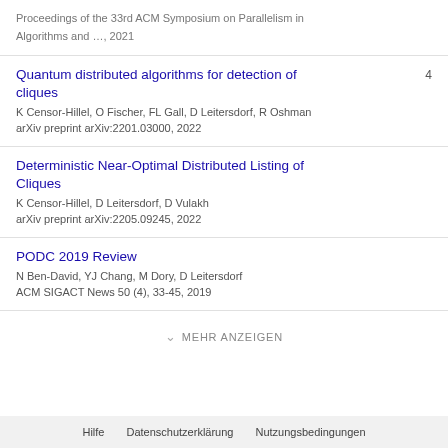Proceedings of the 33rd ACM Symposium on Parallelism in Algorithms and …, 2021
Quantum distributed algorithms for detection of cliques
K Censor-Hillel, O Fischer, FL Gall, D Leitersdorf, R Oshman
arXiv preprint arXiv:2201.03000, 2022
4
Deterministic Near-Optimal Distributed Listing of Cliques
K Censor-Hillel, D Leitersdorf, D Vulakh
arXiv preprint arXiv:2205.09245, 2022
PODC 2019 Review
N Ben-David, YJ Chang, M Dory, D Leitersdorf
ACM SIGACT News 50 (4), 33-45, 2019
MEHR ANZEIGEN
Hilfe  Datenschutzerklärung  Nutzungsbedingungen